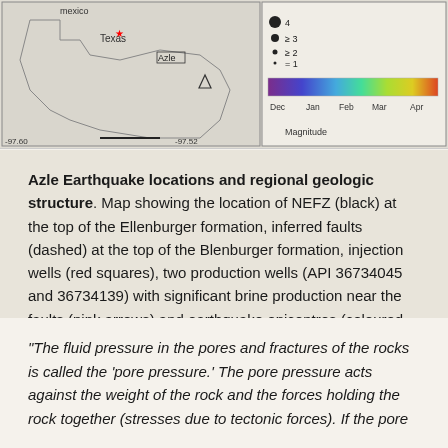[Figure (map): Map showing Azle earthquake locations and regional geologic structure in Texas, with magnitude legend and color-coded timeline from Dec to Apr.]
Azle Earthquake locations and regional geologic structure. Map showing the location of NEFZ (black) at the top of the Ellenburger formation, inferred faults (dashed) at the top of the Blenburger formation, injection wells (red squares), two production wells (API 36734045 and 36734139) with significant brine production near the faults (pink arrows) and earthquake epicentres (coloured circles) recorded by the temporary seismic network (triangles).
“The fluid pressure in the pores and fractures of the rocks is called the ‘pore pressure.’ The pore pressure acts against the weight of the rock and the forces holding the rock together (stresses due to tectonic forces). If the pore pressure...